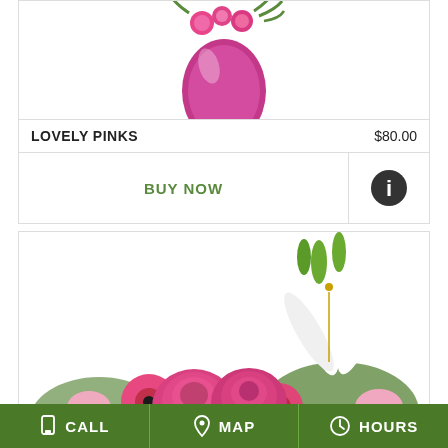[Figure (photo): Lovely Pinks flower arrangement in a pink/magenta egg-shaped vase with pink flowers and greenery, partially cropped at top]
LOVELY PINKS
$80.00
BUY NOW
[Figure (photo): Info button icon - dark circle with white letter i]
[Figure (photo): Flower bouquet with pink roses, white lilies, pink gerberas, pink alstroemeria, partially cropped]
CALL  MAP  HOURS